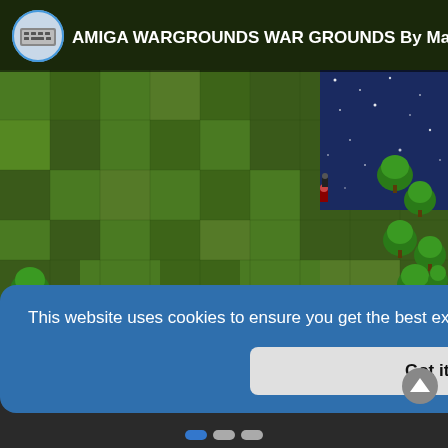[Figure (screenshot): YouTube video thumbnail showing a top-down strategy/war game (Amiga Wargrounds) with green terrain tiles, trees, small soldier sprites, and a red YouTube play button in the center. The video bar at top shows a circular avatar icon and title 'AMIGA WARGROUNDS WAR GROUNDS By Ma...' with partial text cut off on right.]
This website uses cookies to ensure you get the best experience on our website. Learn more
Got it!